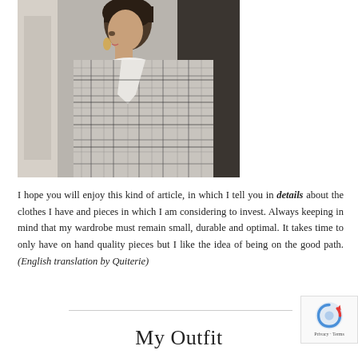[Figure (photo): Fashion photo of a woman with short dark hair wearing a white turtleneck sweater and grey plaid/houndstooth blazer, viewed from the side, gold hoop earring visible]
I hope you will enjoy this kind of article, in which I tell you in details about the clothes I have and pieces in which I am considering to invest. Always keeping in mind that my wardrobe must remain small, durable and optimal. It takes time to only have on hand quality pieces but I like the idea of being on the good path. (English translation by Quiterie)
My Outfit